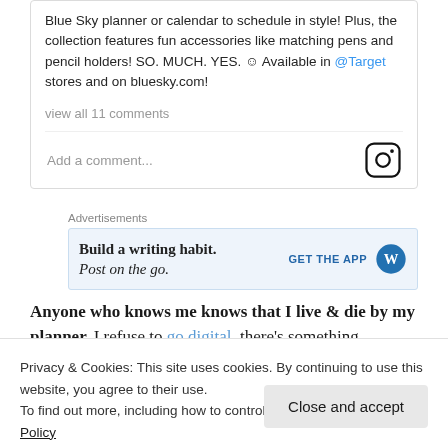Blue Sky planner or calendar to schedule in style! Plus, the collection features fun accessories like matching pens and pencil holders! SO. MUCH. YES. ☺ Available in @Target stores and on bluesky.com!
view all 11 comments
Add a comment...
Advertisements
[Figure (screenshot): WordPress app advertisement banner: 'Build a writing habit. Post on the go.' with GET THE APP button and WordPress logo]
Anyone who knows me knows that I live & die by my planner. I refuse to go digital–there's something
Privacy & Cookies: This site uses cookies. By continuing to use this website, you agree to their use.
To find out more, including how to control cookies, see here: Cookie Policy
Close and accept